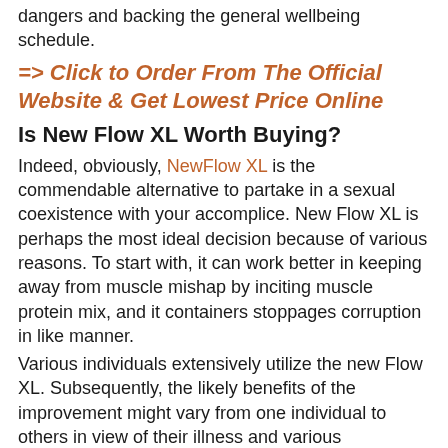dangers and backing the general wellbeing schedule.
=> Click to Order From The Official Website & Get Lowest Price Online
Is New Flow XL Worth Buying?
Indeed, obviously, NewFlow XL is the commendable alternative to partake in a sexual coexistence with your accomplice. New Flow XL is perhaps the most ideal decision because of various reasons. To start with, it can work better in keeping away from muscle mishap by inciting muscle protein mix, and it containers stoppages corruption in like manner.
Various individuals extensively utilize the new Flow XL. Subsequently, the likely benefits of the improvement might vary from one individual to others in view of their illness and various components.
As of now you can buy New Flow XL